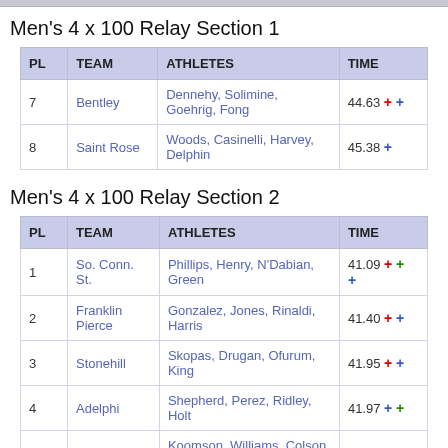Men's 4 x 100 Relay Section 1
| PL | TEAM | ATHLETES | TIME |
| --- | --- | --- | --- |
| 7 | Bentley | Dennehy, Solimine, Goehrig, Fong | 44.63 + + |
| 8 | Saint Rose | Woods, Casinelli, Harvey, Delphin | 45.38 + |
Men's 4 x 100 Relay Section 2
| PL | TEAM | ATHLETES | TIME |
| --- | --- | --- | --- |
| 1 | So. Conn. St. | Phillips, Henry, N'Dabian, Green | 41.09 + + + |
| 2 | Franklin Pierce | Gonzalez, Jones, Rinaldi, Harris | 41.40 + + |
| 3 | Stonehill | Skopas, Drugan, Ofurum, King | 41.95 + + |
| 4 | Adelphi | Shepherd, Perez, Ridley, Holt | 41.97 + + |
| 5 | New Haven | Koomson, Williams, Colson, Tejada | 42.61 + + |
| 6 | ... | Echeandia, Bouie, McMahon | ... |